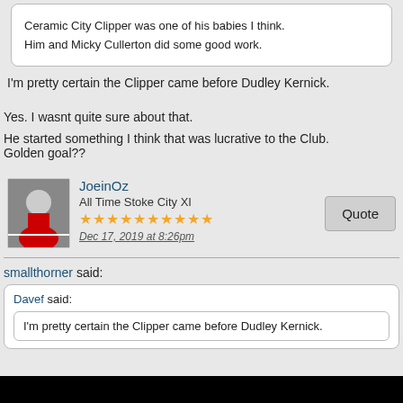Ceramic City Clipper was one of his babies I think.
Him and Micky Cullerton did some good work.
I'm pretty certain the Clipper came before Dudley Kernick.
Yes. I wasnt quite sure about that.
He started something I think that was lucrative to the Club. Golden goal??
JoeinOz
All Time Stoke City XI
★★★★★★★★★★
Dec 17, 2019 at 8:26pm
smallthorner said:
Davef said:
I'm pretty certain the Clipper came before Dudley Kernick.